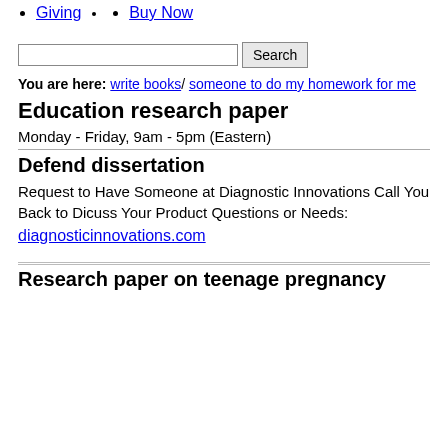Giving
Buy Now
You are here: write books/ someone to do my homework for me
Education research paper
Monday - Friday, 9am - 5pm (Eastern)
Defend dissertation
Request to Have Someone at Diagnostic Innovations Call You Back to Dicuss Your Product Questions or Needs:
diagnosticinnovations.com
Research paper on teenage pregnancy